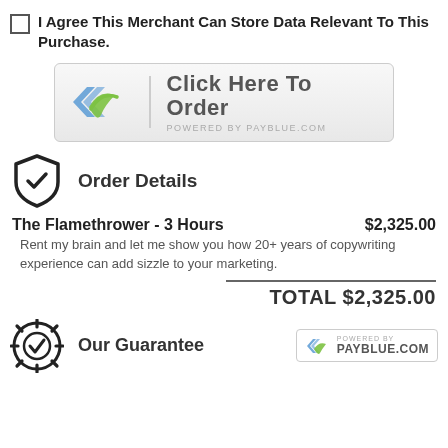I Agree This Merchant Can Store Data Relevant To This Purchase.
[Figure (other): PayBlue payment button with logo and 'Click Here To Order / POWERED BY PAYBLUE.COM']
Order Details
The Flamethrower - 3 Hours   $2,325.00
Rent my brain and let me show you how 20+ years of copywriting experience can add sizzle to your marketing.
TOTAL $2,325.00
Our Guarantee